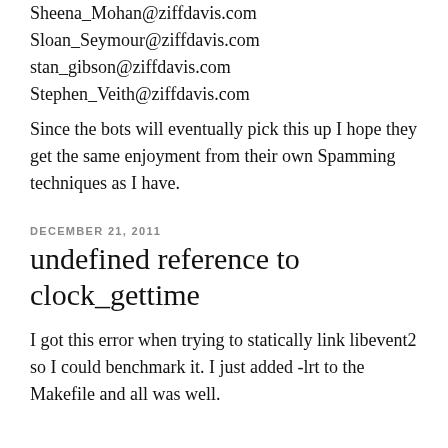Sheena_Mohan@ziffdavis.com
Sloan_Seymour@ziffdavis.com
stan_gibson@ziffdavis.com
Stephen_Veith@ziffdavis.com
Since the bots will eventually pick this up I hope they get the same enjoyment from their own Spamming techniques as I have.
DECEMBER 21, 2011
undefined reference to clock_gettime
I got this error when trying to statically link libevent2 so I could benchmark it. I just added -lrt to the Makefile and all was well.
JANUARY 4, 2010
Warren Buffet is not a speculator